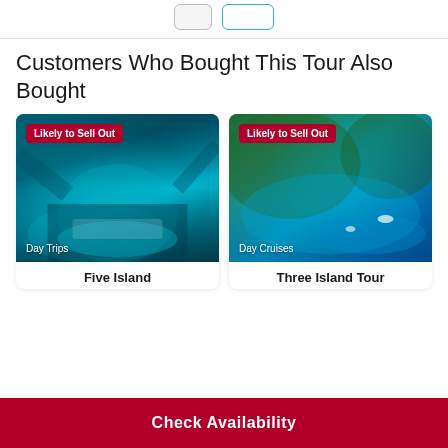Customers Who Bought This Tour Also Bought
[Figure (photo): Blue cave with boat and teal water, badge: Likely to Sell Out, category: Day Trips]
Five Island
[Figure (photo): Aerial view of island coastline with turquoise water, badge: Likely to Sell Out, category: Day Cruises]
Three Island Tour
Check Availability